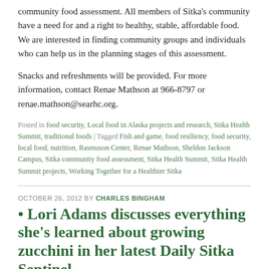community food assessment. All members of Sitka's community have a need for and a right to healthy, stable, affordable food. We are interested in finding community groups and individuals who can help us in the planning stages of this assessment.
Snacks and refreshments will be provided. For more information, contact Renae Mathson at 966-8797 or renae.mathson@searhc.org.
Posted in food security, Local food in Alaska projects and research, Sitka Health Summit, traditional foods | Tagged Fish and game, food resiliency, food security, local food, nutrition, Rasmuson Center, Renae Mathson, Sheldon Jackson Campus, Sitka community food assessment, Sitka Health Summit, Sitka Health Summit projects, Working Together for a Healthier Sitka
OCTOBER 26, 2012 BY CHARLES BINGHAM
• Lori Adams discusses everything she's learned about growing zucchini in her latest Daily Sitka Sentinel